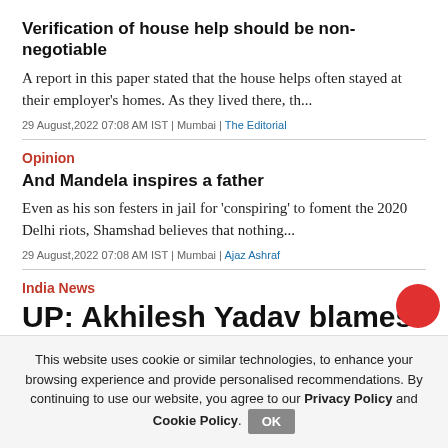Verification of house help should be non-negotiable
A report in this paper stated that the house helps often stayed at their employer's homes. As they lived there, th...
29 August,2022 07:08 AM IST | Mumbai | The Editorial
Opinion
And Mandela inspires a father
Even as his son festers in jail for 'conspiring' to foment the 2020 Delhi riots, Shamshad believes that nothing...
29 August,2022 07:08 AM IST | Mumbai | Ajaz Ashraf
India News
UP: Akhilesh Yadav blames CM
This website uses cookie or similar technologies, to enhance your browsing experience and provide personalised recommendations. By continuing to use our website, you agree to our Privacy Policy and Cookie Policy.